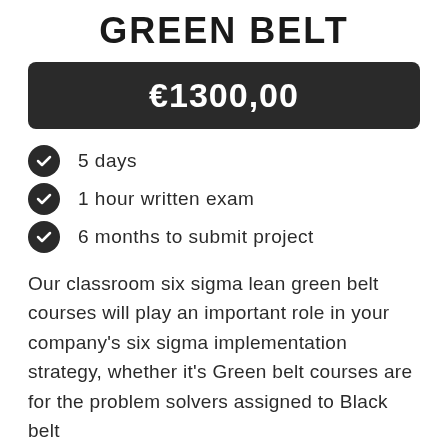GREEN BELT
€1300,00
5 days
1 hour written exam
6 months to submit project
Our classroom six sigma lean green belt courses will play an important role in your company's six sigma implementation strategy, whether it's Green belt courses are for the problem solvers assigned to Black belt